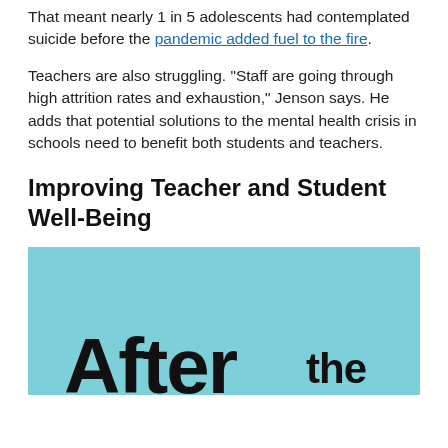That meant nearly 1 in 5 adolescents had contemplated suicide before the pandemic added fuel to the fire.
Teachers are also struggling. “Staff are going through high attrition rates and exhaustion,” Jenson says. He adds that potential solutions to the mental health crisis in schools need to benefit both students and teachers.
Improving Teacher and Student Well-Being
[Figure (photo): Light blue/teal background image with large bold text reading 'After the' in a playful font]